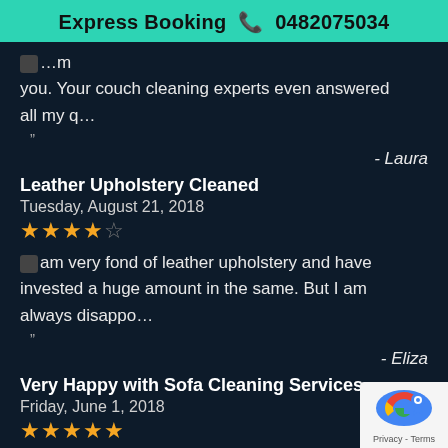Express Booking 📞 0482075034
…m you. Your couch cleaning experts even answered all my q…
"
- Laura
Leather Upholstery Cleaned
Tuesday, August 21, 2018
★★★★☆
I am very fond of leather upholstery and have invested a huge amount in the same. But I am always disappo…
"
- Eliza
Very Happy with Sofa Cleaning Services
Friday, June 1, 2018
★★★★★
[Figure (logo): reCAPTCHA logo with Privacy - Terms text]